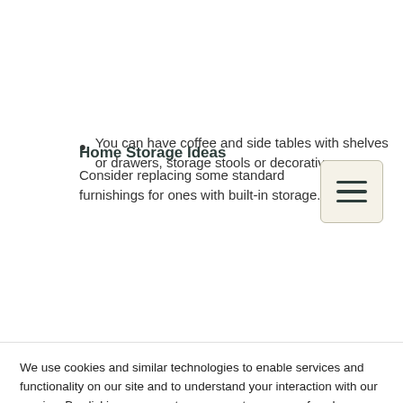Home Storage Ideas
Consider replacing some standard furnishings for ones with built-in storage.
[Figure (other): Hamburger menu icon button — three horizontal lines on a beige/cream background with a rounded border]
You can have coffee and side tables with shelves or drawers, storage stools or decorative
We use cookies and similar technologies to enable services and functionality on our site and to understand your interaction with our service. By clicking on accept, you agree to our use of such technologies for marketing and analytics. See Privacy Policy
Decline All
Accept
Cookie Settings